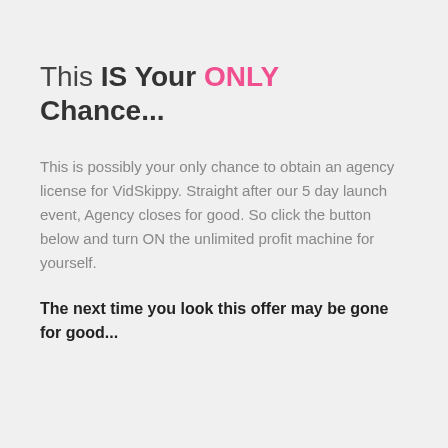This IS Your ONLY Chance...
This is possibly your only chance to obtain an agency license for VidSkippy. Straight after our 5 day launch event, Agency closes for good. So click the button below and turn ON the unlimited profit machine for yourself.
The next time you look this offer may be gone for good...